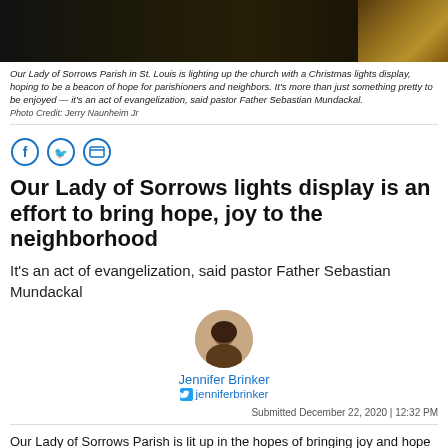[Figure (photo): Dark photograph of Our Lady of Sorrows Parish lit up with Christmas lights at night, showing the exterior of the church building]
Our Lady of Sorrows Parish in St. Louis is lighting up the church with a Christmas lights display, hoping to be a beacon of hope for parishioners and neighbors. It’s more than just something pretty to be enjoyed — it’s an act of evangelization, said pastor Father Sebastian Mundackal.
Photo Credit: Jerry Naunheim Jr
[Figure (infographic): Social media share icons: Facebook, Twitter, and Print]
Our Lady of Sorrows lights display is an effort to bring hope, joy to the neighborhood
It’s an act of evangelization, said pastor Father Sebastian Mundackal
[Figure (photo): Circular headshot portrait of author Jennifer Brinker, a woman with dark hair]
Jennifer Brinker
jenniferbrinker
Submitted December 22, 2020 | 12:32 PM
Our Lady of Sorrows Parish is lit up in the hopes of bringing joy and hope to the neighborhood this Christmas — much like the arrival of